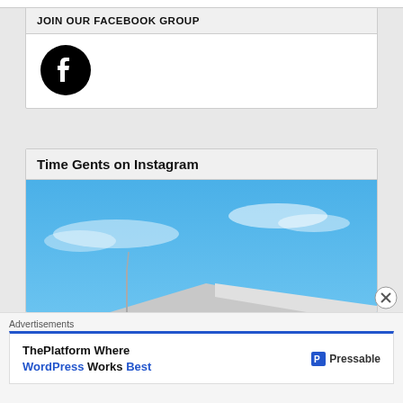JOIN OUR FACEBOOK GROUP
[Figure (logo): Facebook logo icon - black circle with white f]
Time Gents on Instagram
[Figure (photo): Photo of building rooftop with antenna against blue sky with white clouds]
Advertisements
ThePlatform Where WordPress Works Best - Pressable